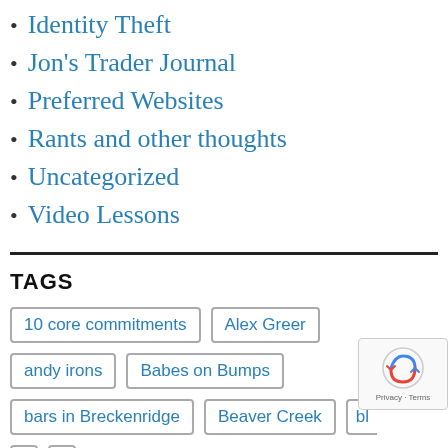Identity Theft
Jon's Trader Journal
Preferred Websites
Rants and other thoughts
Uncategorized
Video Lessons
TAGS
10 core commitments, Alex Greer, andy irons, Babes on Bumps, bars in Breckenridge, Beaver Creek, bl...